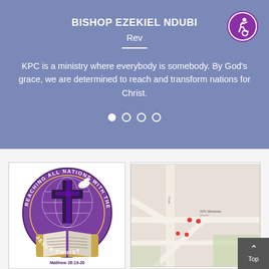BISHOP EZEKIEL NDUBI
Rev
KPC is a ministry where everybody is somebody. By God's grace, we are determined to reach and transform nations for Christ.
[Figure (logo): KPC church logo with cross, globe, dove, open Bible, and text 'Reaching All Nations With The Gospel of Jesus Christ' and 'Matthew 28:19-20']
[Figure (map): Google Maps screenshot showing local area streets with red location pin markers]